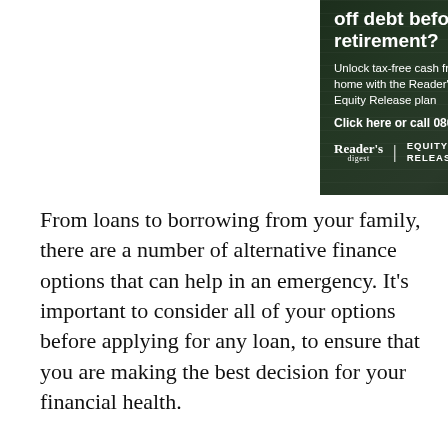[Figure (advertisement): Reader's Digest Equity Release advertisement on dark green background with calculator/ledger texture. Headline: 'off debt before retirement?' with subtext 'Unlock tax-free cash from your home with the Reader's Digest Equity Release plan'. CTA: 'Click here or call 0800 029 1233'. Reader's Digest | EQUITY RELEASE logo at bottom.]
From loans to borrowing from your family, there are a number of alternative finance options that can help in an emergency. It's important to consider all of your options before applying for any loan, to ensure that you are making the best decision for your financial health.